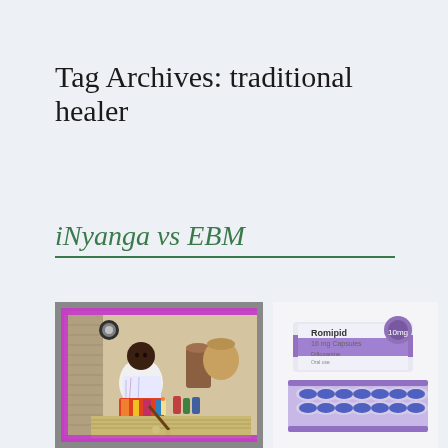Tag Archives: traditional healer
iNyanga vs EBM
[Figure (photo): A traditional African healer (iNyanga) sitting cross-legged on a mat, surrounded by herbs, bottles, and traditional items, with a colorful purple/magenta decorated border frame.]
[Figure (photo): A box of Romipic 16mg Capsules pharmaceutical product shown alongside a blister pack of capsules, on a white background.]